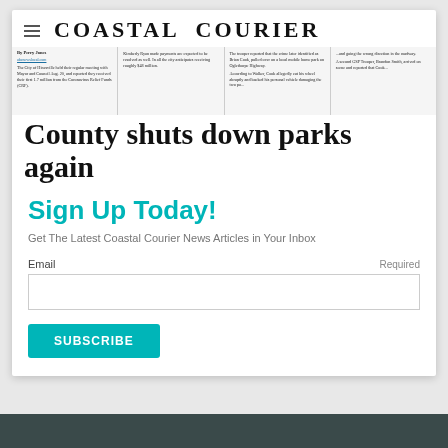Coastal Courier
[Figure (screenshot): Newspaper front page image showing columns of small text with headline 'County shuts down parks again']
County shuts down parks again
Sign Up Today!
Get The Latest Coastal Courier News Articles in Your Inbox
Email     Required
SUBSCRIBE